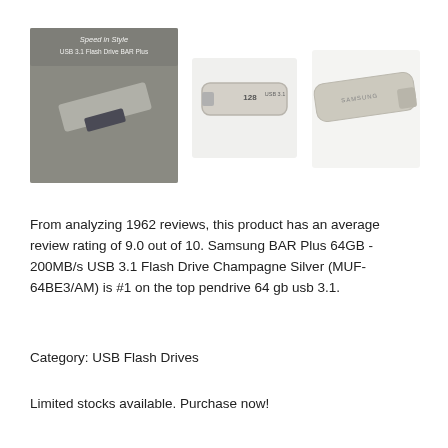[Figure (photo): Three product images of Samsung BAR Plus USB 3.1 Flash Drive in Champagne Silver: left image shows close-up lifestyle shot with text 'Speed in Style USB 3.1 Flash Drive BAR Plus', center image shows front view of 128GB drive, right image shows angled view of the drive.]
From analyzing 1962 reviews, this product has an average review rating of 9.0 out of 10. Samsung BAR Plus 64GB - 200MB/s USB 3.1 Flash Drive Champagne Silver (MUF-64BE3/AM) is #1 on the top pendrive 64 gb usb 3.1.
Category: USB Flash Drives
Limited stocks available. Purchase now!